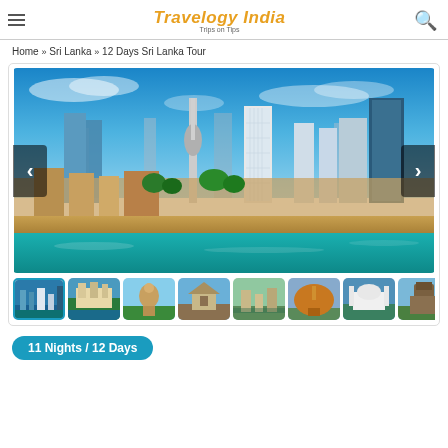Travelogy India - Trips on Tips
Home » Sri Lanka » 12 Days Sri Lanka Tour
[Figure (photo): Aerial panoramic view of Colombo, Sri Lanka cityscape with tall modern skyscrapers, historic buildings, sandy beach coastline and turquoise ocean water under a blue sky with clouds. Navigation arrows on left and right sides.]
[Figure (photo): Row of 8 thumbnail images of Sri Lanka tourist attractions including city skyline, coastal fortress, Buddha statues, ancient temples, stupas, white mosque, and Sigiriya rock fortress.]
11 Nights / 12 Days